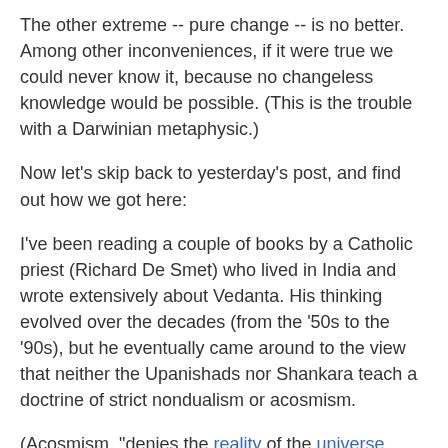The other extreme -- pure change -- is no better. Among other inconveniences, if it were true we could never know it, because no changeless knowledge would be possible. (This is the trouble with a Darwinian metaphysic.)
Now let's skip back to yesterday's post, and find out how we got here:
I've been reading a couple of books by a Catholic priest (Richard De Smet) who lived in India and wrote extensively about Vedanta. His thinking evolved over the decades (from the '50s to the '90s), but he eventually came around to the view that neither the Upanishads nor Shankara teach a doctrine of strict nondualism or acosmism.
(Acosmism, "denies the reality of the universe, seeing it as ultimately illusory, and only the infinite unmanifest Absolute as real." It "has been seen in the work of a number of Western philosophers, including ¡Parmenides!, Plato, Spinoza, Kant, and Hegel" [Prof. Wiki].)
This nondual approach is really no fun at all, for it is very